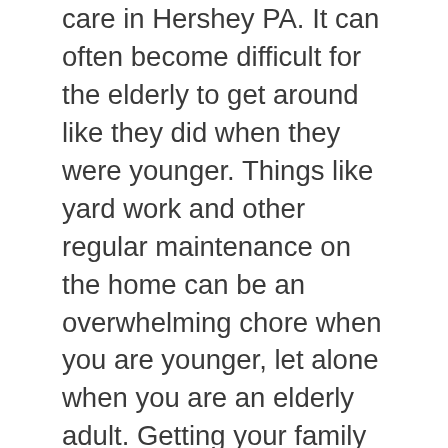care in Hershey PA. It can often become difficult for the elderly to get around like they did when they were younger. Things like yard work and other regular maintenance on the home can be an overwhelming chore when you are younger, let alone when you are an elderly adult. Getting your family member the help they need around the house can be priceless. For example, care centers will commonly go grocery shopping and cook meals for their residence. This can assist in keeping them